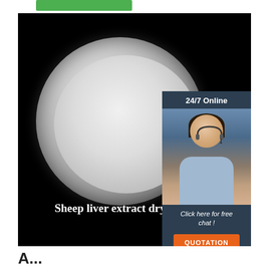[Figure (photo): Green navigation bar element at top of page]
[Figure (photo): Product photo of sheep liver extract drying powder in a white petri dish on black background, with a 24/7 Online chat widget overlay showing a customer service representative. Text reads 'Sheep liver extract drying powder' and includes a TOP logo and QUOTATION button.]
Sheep liver extract drying powder
24/7 Online
Click here for free chat !
QUOTATION